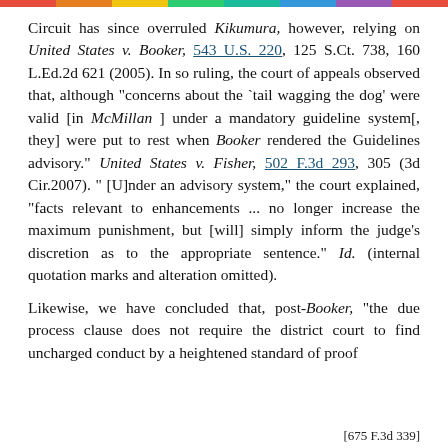Circuit has since overruled Kikumura, however, relying on United States v. Booker, 543 U.S. 220, 125 S.Ct. 738, 160 L.Ed.2d 621 (2005). In so ruling, the court of appeals observed that, although "concerns about the `tail wagging the dog' were valid [in McMillan ] under a mandatory guideline system[, they] were put to rest when Booker rendered the Guidelines advisory." United States v. Fisher, 502 F.3d 293, 305 (3d Cir.2007). "[U]nder an advisory system," the court explained, "facts relevant to enhancements ... no longer increase the maximum punishment, but [will] simply inform the judge's discretion as to the appropriate sentence." Id. (internal quotation marks and alteration omitted).
Likewise, we have concluded that, post-Booker, "the due process clause does not require the district court to find uncharged conduct by a heightened standard of proof
[675 F.3d 339]